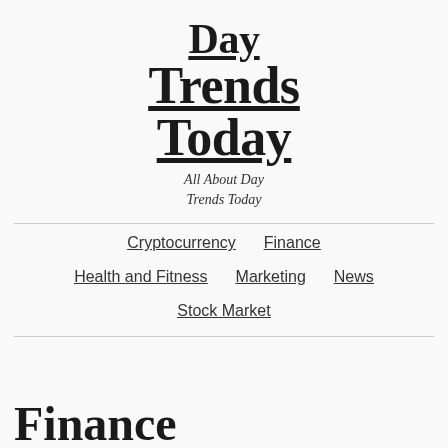Day Trends Today
All About Day Trends Today
Cryptocurrency
Finance
Health and Fitness
Marketing
News
Stock Market
Finance